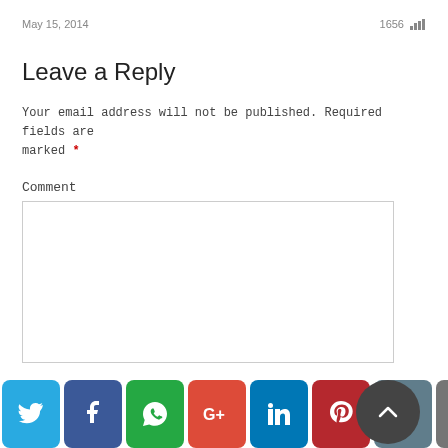May 15, 2014    1656
Leave a Reply
Your email address will not be published. Required fields are marked *
Comment
[Figure (screenshot): Comment text area input box, empty, with light gray border]
[Figure (infographic): Social sharing buttons bar: Twitter (blue), Facebook (dark blue), WhatsApp (green), Google+ (red), LinkedIn (blue), Pinterest (dark red), Email (gray-blue), Print (gray), and a circular up/back-to-top button (dark gray), plus a partial red button at right edge]